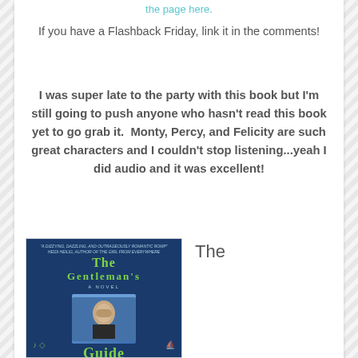the page here.
If you have a Flashback Friday, link it in the comments!
I was super late to the party with this book but I'm still going to push anyone who hasn't read this book yet to go grab it.  Monty, Percy, and Felicity are such great characters and I couldn't stop listening...yeah I did audio and it was excellent!
[Figure (photo): Book cover of 'The Gentleman's Guide' novel with a young man on the cover against a dark blue background with green decorative text]
The